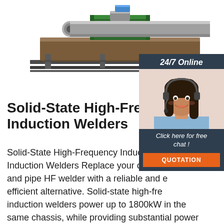[Figure (engineering-diagram): 3D rendering of a solid-state high-frequency induction welder machine, shown as a long horizontal tube/pipe welding apparatus in green and gray, mounted on rails]
[Figure (photo): 24/7 Online chat widget with a photo of a smiling woman with headset, a 'Click here for free chat!' prompt and an orange QUOTATION button]
Solid-State High-Frequency Induction Welders
Solid-State High-Frequency Induction Welders Induction Welders Replace your obsolete and pipe HF welder with a reliable and efficient alternative. Solid-state high-frequency induction welders power up to 1800kW in the same chassis, while providing substantial power savings to your automatic tube mill production line. Features and advantages ①The welding speed is fast, the ...